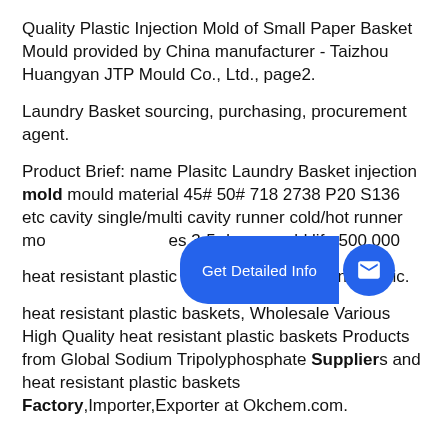Quality Plastic Injection Mold of Small Paper Basket Mould provided by China manufacturer - Taizhou Huangyan JTP Mould Co., Ltd., page2.
Laundry Basket sourcing, purchasing, procurement agent.
Product Brief: name Plasitc Laundry Basket injection mold mould material 45# 50# 718 2738 P20 S136 etc cavity single/multi cavity runner cold/hot runner mould delivery times 3-5 days mould life 500,000
heat resistant plastic baskets, heat resistant plastic.
heat resistant plastic baskets, Wholesale Various High Quality heat resistant plastic baskets Products from Global Sodium Tripolyphosphate Suppliers and heat resistant plastic baskets Factory,Importer,Exporter at Okchem.com.